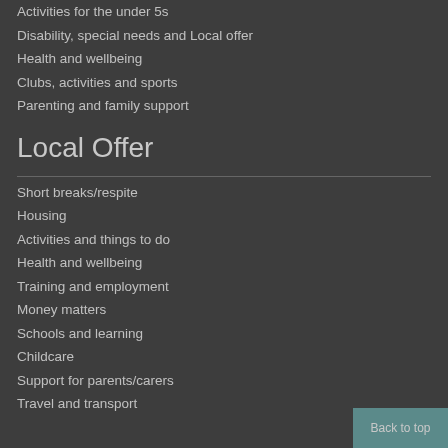Activities for the under 5s
Disability, special needs and Local offer
Health and wellbeing
Clubs, activities and sports
Parenting and family support
Local Offer
Short breaks/respite
Housing
Activities and things to do
Health and wellbeing
Training and employment
Money matters
Schools and learning
Childcare
Support for parents/carers
Travel and transport
Back to top